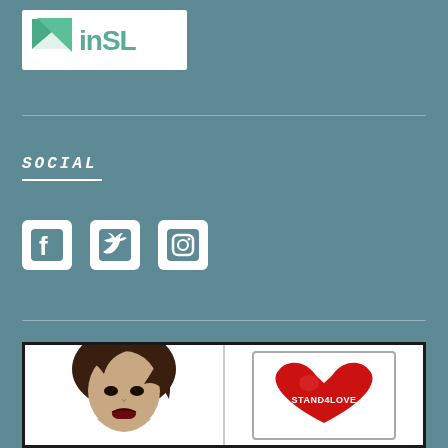[Figure (logo): inSL logo — white box with green geometric arrow and 'inSL' text in teal/green]
SOCIAL
[Figure (infographic): Social media icons: Facebook, Twitter, Instagram — white icons on white rounded square backgrounds]
[Figure (illustration): Bottom panel: left side shows a 3D avatar with dark brown bob haircut and dramatic makeup; right side shows a red heart-shaped logo with text 'STAND4LOVE']